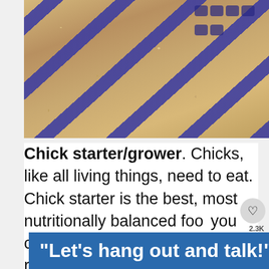[Figure (photo): Close-up photo of chick starter/grower feed grain with blue plastic feeder tray dividers crossing diagonally across the frame]
Chick starter/grower. Chicks, like all living things, need to eat. Chick starter is the best, most nutritionally balanced food you can give them. It has the right ratio to ensure healthy, well-nourished chicks. Healthy, well-nourished chicks are imperative to healthy, well-nourished h...sting.
“Let’s hang out and talk!”